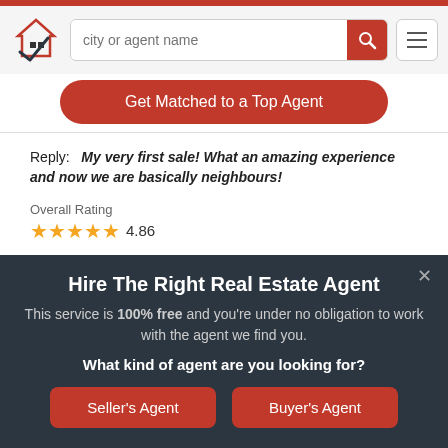[Figure (logo): Real estate website logo with house icon and checkmark]
city or agent name
Get Matched to a Top Agent
Reply:   My very first sale! What an amazing experience and now we are basically neighbours!
Overall Rating
4.86
Responsiveness Rating
5.00
Hire The Right Real Estate Agent
This service is 100% free and you're under no obligation to work with the agent we find you.
What kind of agent are you looking for?
Seller's Agent
Buyer's Agent